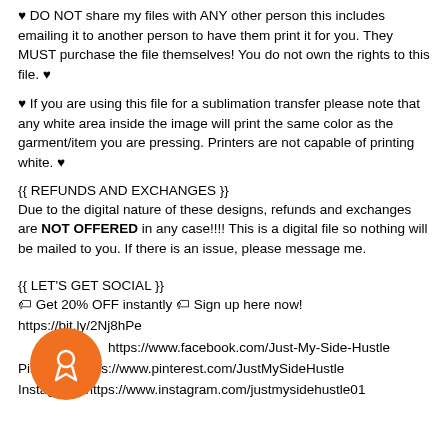♥ DO NOT share my files with ANY other person this includes emailing it to another person to have them print it for you. They MUST purchase the file themselves! You do not own the rights to this file. ♥
♥ If you are using this file for a sublimation transfer please note that any white area inside the image will print the same color as the garment/item you are pressing. Printers are not capable of printing white. ♥
{{ REFUNDS AND EXCHANGES }}
Due to the digital nature of these designs, refunds and exchanges are NOT OFFERED in any case!!!! This is a digital file so nothing will be mailed to you. If there is an issue, please message me.
{{ LET'S GET SOCIAL }}
🏷 Get 20% OFF instantly 🏷 Sign up here now! https://bit.ly/2Nj8hPe
Facebook: https://www.facebook.com/Just-My-Side-Hustle
Pinterest: https://www.pinterest.com/JustMySideHustle
Instagram: https://www.instagram.com/justmysidehustle01